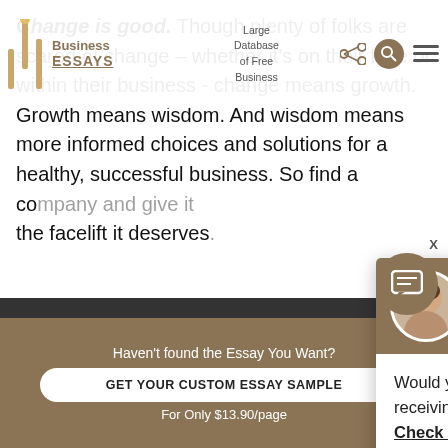Business Essays – Large Database of Free Business
Change is good. Though plenty of folks are scared of change – whether it's on their face or within their business - change means growth. Growth means wisdom. And wisdom means more informed choices and solutions for a healthy, successful business. So find a co... the facelift it deserves...
[Figure (screenshot): Chat popup with avatar of a woman named Dana. Header text: Hi! I'm Dana. Body text: Would you like to get such a paper? How about receiving a customized one? Check it out]
[Figure (screenshot): Chat bubble button icon at bottom right]
Haven't found the Essay You Want?
GET YOUR CUSTOM ESSAY SAMPLE
For Only $13.90/page